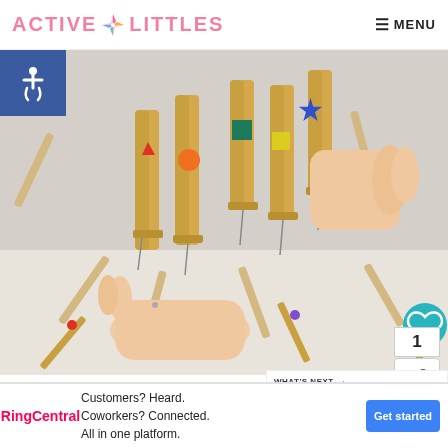ACTIVE LITTLES | MENU
[Figure (photo): Child's hands holding wooden clothespins with colored shapes (triangle, circle, square, star) attached — a shape sorting activity for kids]
SHAPE
WHAT'S NEXT → Turkey Paper Plate Craft...
POPSICLE STICK ACTIVITIES
Customers? Heard. Coworkers? Connected. All in one platform. Get started